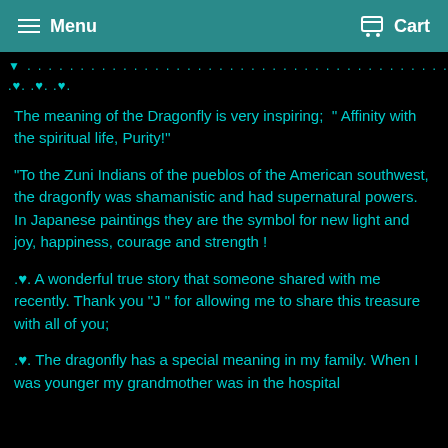Menu   Cart
▾ . . . . . . . . . . . . . . . . . . . . . . . . . . . . . . . . . . . . . . . . . . . .
.♥. .♥. .♥.
The meaning of the Dragonfly is very inspiring; '' Affinity with the spiritual life, Purity!''
"To the Zuni Indians of the pueblos of the American southwest, the dragonfly was shamanistic and had supernatural powers. In Japanese paintings they are the symbol for new light and joy, happiness, courage and strength !
.♥. A wonderful true story that someone shared with me recently. Thank you "J " for allowing me to share this treasure with all of you;
.♥. The dragonfly has a special meaning in my family. When I was younger my grandmother was in the hospital